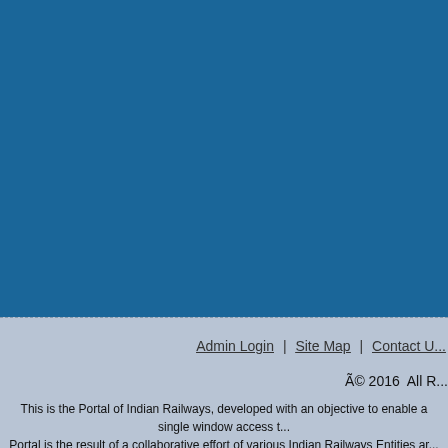| Name of the Officer | Designation |
| --- | --- |
| Smt. Samhita Soren | PCMM... |
| Sri Jagdish Mistry | CMM... |
| Sri S. Saha | Dy. CMM/... |
| Sri Manabendra Sarkar | SMM/O&... |
| Sri Abhijit Banerjee | SMM/N... |
| Sri Pankaj Kumar | AMM/C... |
Source :
Admin Login | Site Map | Contact U...
Ã© 2016  All R...
This is the Portal of Indian Railways, developed with an objective to enable a single window access t... Portal is the result of a collaborative effort of various Indian Railways Entities ar...